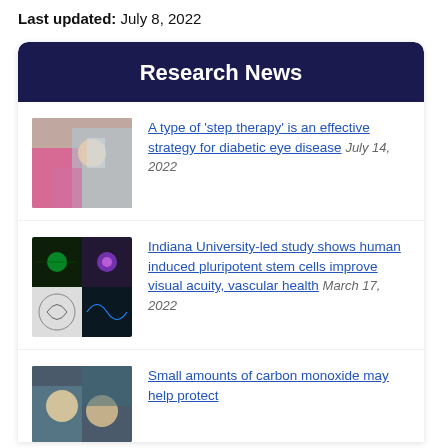Last updated: July 8, 2022
Research News
A type of ‘step therapy’ is an effective strategy for diabetic eye disease July 14, 2022
Indiana University-led study shows human induced pluripotent stem cells improve visual acuity, vascular health March 17, 2022
Small amounts of carbon monoxide may help protect